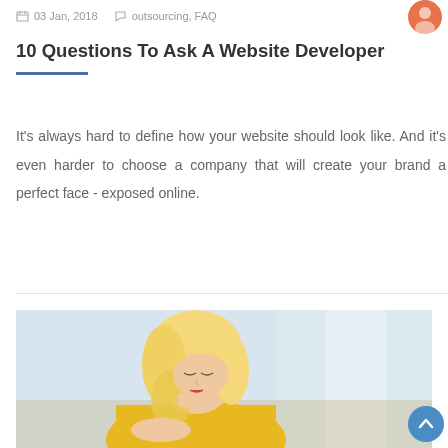03 Jan, 2018  outsourcing, FAQ
10 Questions To Ask A Website Developer
It's always hard to define how your website should look like. And it's even harder to choose a company that will create your brand a perfect face - exposed online.
[Figure (photo): A blonde woman in a yellow top looking down thoughtfully, with a blurred light background]
[Figure (logo): Small circular orange/red avatar image in top right corner]